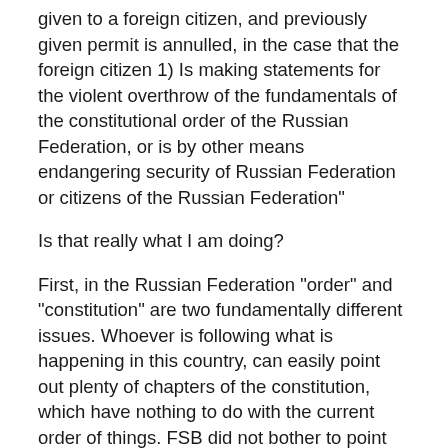given to a foreign citizen, and previously given permit is annulled, in the case that the foreign citizen 1) Is making statements for the violent overthrow of the fundamentals of the constitutional order of the Russian Federation, or is by other means endangering security of Russian Federation or citizens of the Russian Federation"
Is that really what I am doing?
First, in the Russian Federation "order" and "constitution" are two fundamentally different issues. Whoever is following what is happening in this country, can easily point out plenty of chapters of the constitution, which have nothing to do with the current order of things. FSB did not bother to point out, if it is the "current order" or the "constitition" I am making statements against.
However, it is not only the current order which is the problem, but the constitution as well. For example, I have no idea what the point is in having a president or a state duma. If we wanted a democracy, it would be more